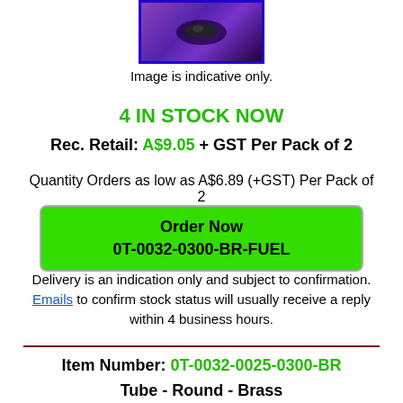[Figure (photo): Product photo showing a dark metallic object on a purple/dark background, inside a blue bordered frame]
Image is indicative only.
4 IN STOCK NOW
Rec. Retail: A$9.05 + GST Per Pack of 2
Quantity Orders as low as A$6.89 (+GST) Per Pack of 2
Order Now
0T-0032-0300-BR-FUEL
Delivery is an indication only and subject to confirmation. Emails to confirm stock status will usually receive a reply within 4 business hours.
Item Number: 0T-0032-0025-0300-BR
Tube - Round - Brass